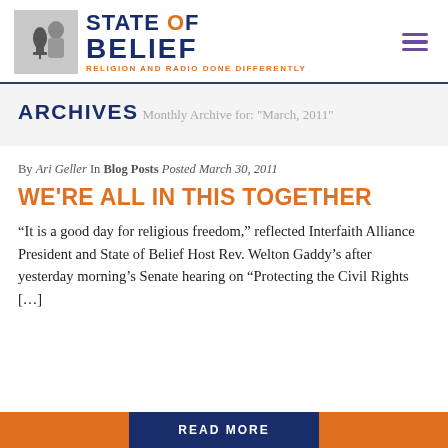STATE OF BELIEF — RELIGION AND RADIO DONE DIFFERENTLY
ARCHIVES
Monthly Archive for: "March, 2011"
By Ari Geller In Blog Posts Posted March 30, 2011
WE'RE ALL IN THIS TOGETHER
“It is a good day for religious freedom,” reflected Interfaith Alliance President and State of Belief Host Rev. Welton Gaddy’s after yesterday morning’s Senate hearing on “Protecting the Civil Rights [...]
READ MORE